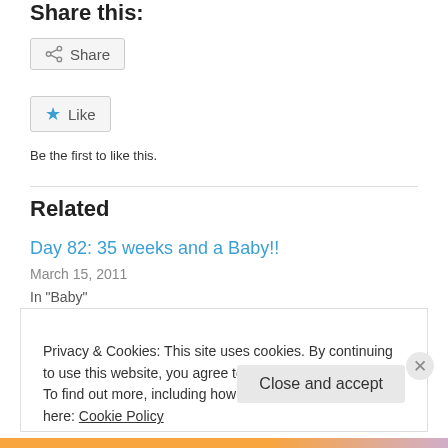Share this:
[Figure (other): Share button with share icon]
[Figure (other): Like button with star icon]
Be the first to like this.
Related
Day 82: 35 weeks and a Baby!!
March 15, 2011
In "Baby"
Day 33: 28 Weeks!
Privacy & Cookies: This site uses cookies. By continuing to use this website, you agree to their use.
To find out more, including how to control cookies, see here: Cookie Policy
Close and accept